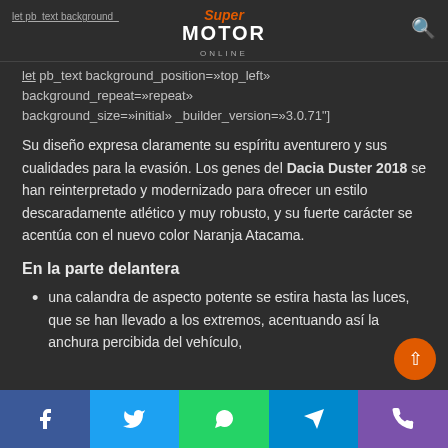SuperMotor Online
[et_pb_text background_position=»top_left» background_repeat=»repeat» background_size=»initial» _builder_version=»3.0.71»] Su diseño expresa claramente su espíritu aventurero y sus cualidades para la evasión. Los genes del Dacia Duster 2018 se han reinterpretado y modernizado para ofrecer un estilo descaradamente atlético y muy robusto, y su fuerte carácter se acentúa con el nuevo color Naranja Atacama.
En la parte delantera
una calandra de aspecto potente se estira hasta las luces, que se han llevado a los extremos, acentuando así la anchura percibida del vehículo,
Facebook Twitter WhatsApp Telegram Phone